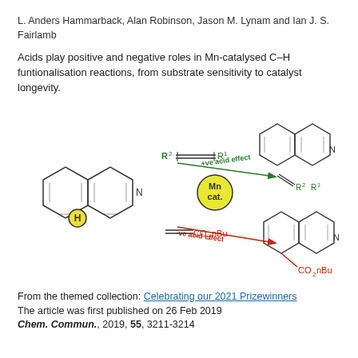L. Anders Hammarback, Alan Robinson, Jason M. Lynam and Ian J. S. Fairlamb
Acids play positive and negative roles in Mn-catalysed C–H funtionalisation reactions, from substrate sensitivity to catalyst longevity.
[Figure (illustration): Chemical reaction scheme showing Mn-catalysed C-H functionalisation. Left: substrate with biphenyl-pyridine scaffold and H label. Centre: alkyne (R2=R1) and alkene (=CO2nBu) reagents with Mn cat. (yellow circle) in the middle, arrows showing +ve acid effect (upper, green) and -ve acid effect (lower, red). Right top: product with vinyl substituents R2 R1. Right bottom: product with CO2nBu substituent (red).]
From the themed collection: Celebrating our 2021 Prizewinners
The article was first published on 26 Feb 2019
Chem. Commun., 2019, 55, 3211-3214